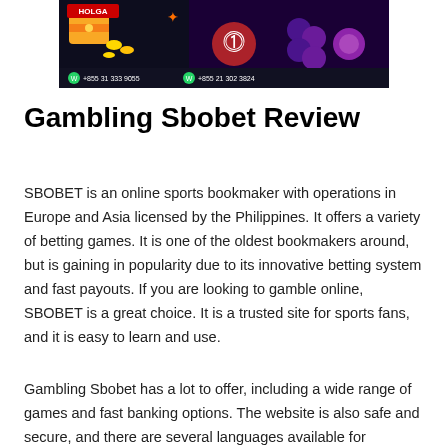[Figure (illustration): Casino/slots game banner with colorful slot machine icons (treasure chest, coins, fruits, gems), WhatsApp contact numbers at bottom, and 'HOLGA' branding text on dark background]
Gambling Sbobet Review
SBOBET is an online sports bookmaker with operations in Europe and Asia licensed by the Philippines. It offers a variety of betting games. It is one of the oldest bookmakers around, but is gaining in popularity due to its innovative betting system and fast payouts. If you are looking to gamble online, SBOBET is a great choice. It is a trusted site for sports fans, and it is easy to learn and use.
Gambling Sbobet has a lot to offer, including a wide range of games and fast banking options. The website is also safe and secure, and there are several languages available for